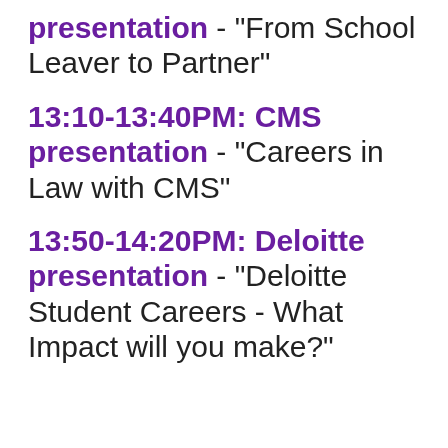presentation - "From School Leaver to Partner"
13:10-13:40PM: CMS presentation - "Careers in Law with CMS"
13:50-14:20PM: Deloitte presentation - "Deloitte Student Careers - What Impact will you make?"